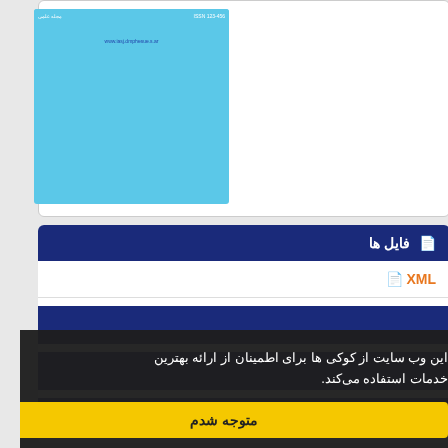[Figure (illustration): Journal cover with light blue background, showing a grid of 4 biological/nature photos: brain tissue, rock/turtle, microscopy cell image (pink/purple), and starfish on rocks. Small text at top and URL at bottom.]
فایل ها
XML
این وب سایت از کوکی ها برای اطمینان از ارائه بهترین خدمات استفاده می‌کند.
متوجه شدم